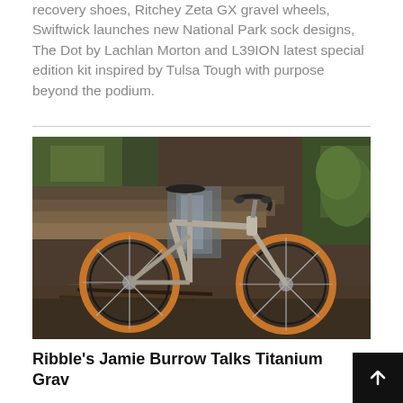recovery shoes, Ritchey Zeta GX gravel wheels, Swiftwick launches new National Park sock designs, The Dot by Lachlan Morton and L39ION latest special edition kit inspired by Tulsa Tough with purpose beyond the podium.
[Figure (photo): A titanium gravel bicycle leaning against a rocky, mossy waterfall backdrop in an outdoor natural setting. The bike has tan/brown tires and drop handlebars.]
Ribble's Jamie Burrow Talks Titanium Grav